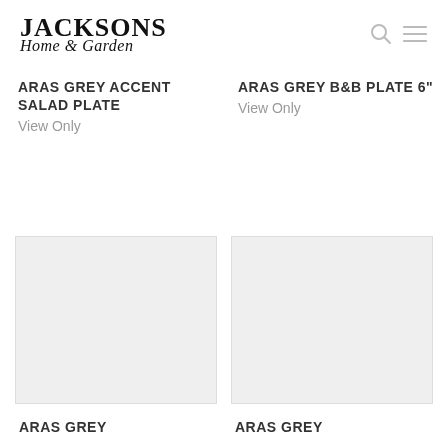Jacksons Home & Garden
ARAS GREY ACCENT SALAD PLATE
View Only
ARAS GREY B&B PLATE 6"
View Only
[Figure (photo): Product image placeholder for ARAS GREY product, light grey box]
[Figure (photo): Product image placeholder for ARAS GREY product, light grey box]
ARAS GREY
ARAS GREY